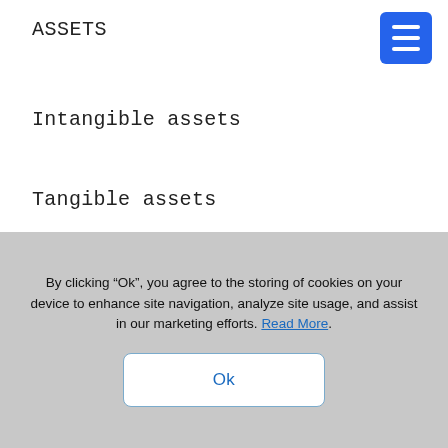ASSETS
Intangible assets
Tangible assets
Long-term investments
Long-term receivables
By clicking “Ok”, you agree to the storing of cookies on your device to enhance site navigation, analyze site usage, and assist in our marketing efforts. Read More.
Ok